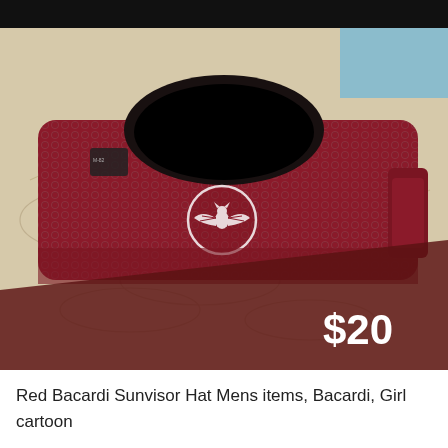[Figure (photo): A red/maroon Bacardi sun visor hat with a white Bacardi bat logo emblem on the front, placed on a beige textured fabric surface. The hat is photographed from above showing its mesh band. A dark red price overlay in the bottom portion displays '$20' in white text.]
Red Bacardi Sunvisor Hat Mens items, Bacardi, Girl cartoon